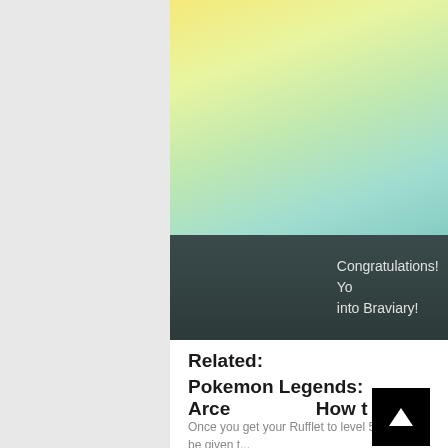[Figure (screenshot): Screenshot of a Pokemon Legends Arceus game showing an evolution scene with a colorful gradient background (yellow, green, teal) and a dark bottom bar with text 'Congratulations! Yo... into Braviary!']
Related:
Pokemon Legends: Arceu... How t...
Once you get your Rufflet to level 54, you will be given t... evolve, the Pokeball icon next to their name in the men...